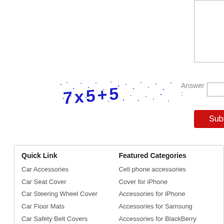[Figure (other): Text input box (top right, partially visible)]
[Figure (other): CAPTCHA image showing math: 7x5+5]
Answer :
[Figure (other): Submit button (red)]
Quick Link
Car Accessories
Car Seat Cover
Car Steering Wheel Cover
Car Floor Mats
Car Safety Belt Covers
Featured Categories
Cell phone accessories
Cover for iPhone
Accessories for iPhone
Accessories for Samsung
Accessories for BlackBerry
Quick He...
How to O...
Payment...
Shipping...
Fill up Pa...
Frequenc...
[Figure (logo): FedEx Express logo]
[Figure (logo): DHL logo]
[Figure (logo): EMS logo]
[Figure (logo): UPS logo]
[Figure (logo): PayPay with MasterCard and VISA logos]
[Figure (logo): PayPay VERIFIED badge/seal]
Safe and secure purch...